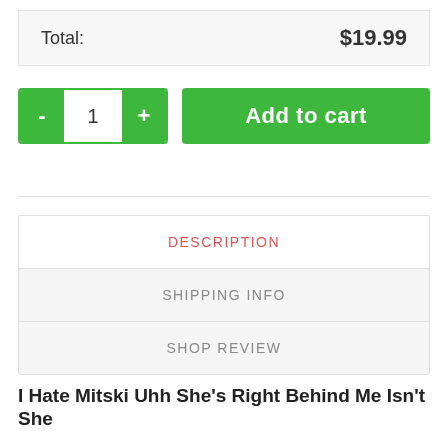Total:   $19.99
- 1 +   Add to cart
DESCRIPTION
SHIPPING INFO
SHOP REVIEW
I Hate Mitski Uhh She’s Right Behind Me Isn’t She